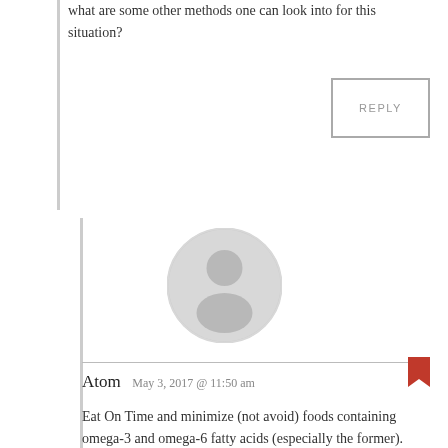what are some other methods one can look into for this situation?
REPLY
[Figure (illustration): Generic user avatar: grey circle with silhouette of a person (head and shoulders)]
Atom   May 3, 2017 @ 11:50 am
Eat On Time and minimize (not avoid) foods containing omega-3 and omega-6 fatty acids (especially the former).